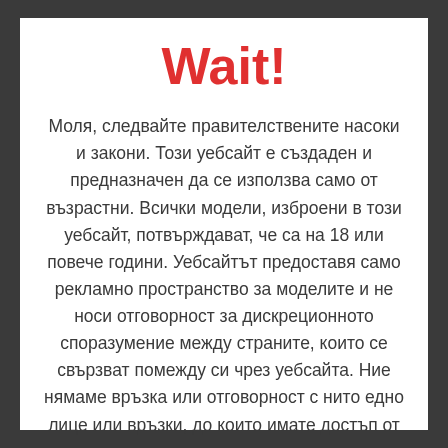Wait!
Моля, следвайте правителствените насоки и закони. Този уебсайт е създаден и предназначен да се използва само от възрастни. Всички модели, изброени в този уебсайт, потвърждават, че са на 18 или повече години. Уебсайтът предоставя само рекламно пространство за моделите и не носи отговорност за дискреционното споразумение между страните, които се свързват помежду си чрез уебсайта. Ние нямаме връзка или отговорност с нито едно лице или връзки, до които имате достъп от този портал.